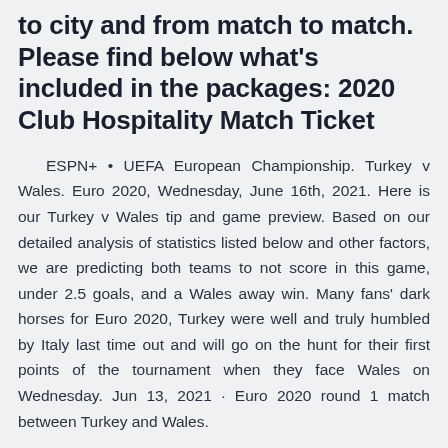to city and from match to match. Please find below what's included in the packages: 2020 Club Hospitality Match Ticket
ESPN+ • UEFA European Championship. Turkey v Wales. Euro 2020, Wednesday, June 16th, 2021. Here is our Turkey v Wales tip and game preview. Based on our detailed analysis of statistics listed below and other factors, we are predicting both teams to not score in this game, under 2.5 goals, and a Wales away win. Many fans' dark horses for Euro 2020, Turkey were well and truly humbled by Italy last time out and will go on the hunt for their first points of the tournament when they face Wales on Wednesday. Jun 13, 2021 · Euro 2020 round 1 match between Turkey and Wales.